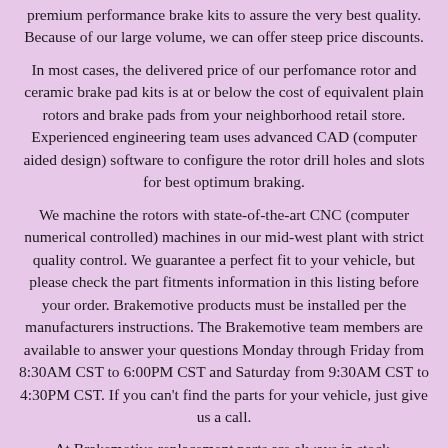premium performance brake kits to assure the very best quality. Because of our large volume, we can offer steep price discounts.
In most cases, the delivered price of our perfomance rotor and ceramic brake pad kits is at or below the cost of equivalent plain rotors and brake pads from your neighborhood retail store. Experienced engineering team uses advanced CAD (computer aided design) software to configure the rotor drill holes and slots for best optimum braking.
We machine the rotors with state-of-the-art CNC (computer numerical controlled) machines in our mid-west plant with strict quality control. We guarantee a perfect fit to your vehicle, but please check the part fitments information in this listing before your order. Brakemotive products must be installed per the manufacturers instructions. The Brakemotive team members are available to answer your questions Monday through Friday from 8:30AM CST to 6:00PM CST and Saturday from 9:30AM CST to 4:30PM CST. If you can't find the parts for your vehicle, just give us a call.
At Brakemotive replacement parts are always in stock. Brakemotive is one of the largest brake suppliers in North America, with over 250,000 satisfied customers. Not to worry, your order will still get to you quickly and efficiently! Additional charges may be incurred for international callers,